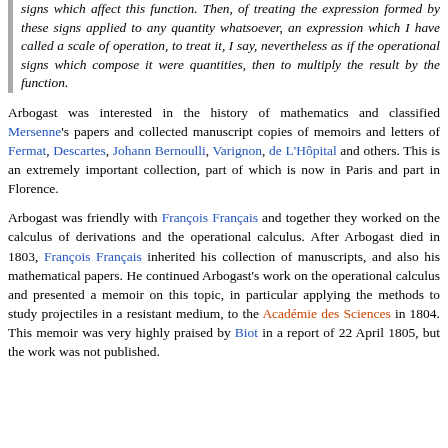signs which affect this function. Then, of treating the expression formed by these signs applied to any quantity whatsoever, an expression which I have called a scale of operation, to treat it, I say, nevertheless as if the operational signs which compose it were quantities, then to multiply the result by the function.
Arbogast was interested in the history of mathematics and classified Mersenne's papers and collected manuscript copies of memoirs and letters of Fermat, Descartes, Johann Bernoulli, Varignon, de L'Hôpital and others. This is an extremely important collection, part of which is now in Paris and part in Florence.
Arbogast was friendly with François Français and together they worked on the calculus of derivations and the operational calculus. After Arbogast died in 1803, François Français inherited his collection of manuscripts, and also his mathematical papers. He continued Arbogast's work on the operational calculus and presented a memoir on this topic, in particular applying the methods to study projectiles in a resistant medium, to the Académie des Sciences in 1804. This memoir was very highly praised by Biot in a report of 22 April 1805, but the work was not published.